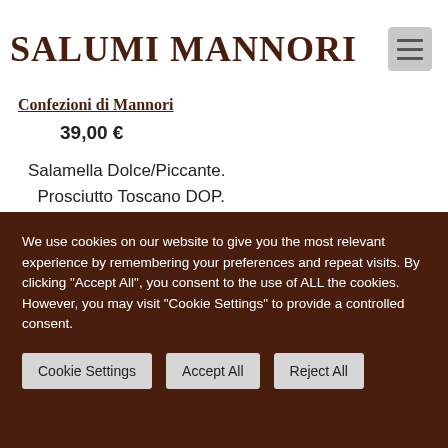SALUMI MANNORI
Confezioni di Mannori
39,00 €
Salamella Dolce/Piccante. Prosciutto Toscano DOP. Guanciale. Pancetta Arrosto. Vasetto Condimento Spezie. Arista Arrosto I ns prodotti vengono tagliati ogni volta
We use cookies on our website to give you the most relevant experience by remembering your preferences and repeat visits. By clicking "Accept All", you consent to the use of ALL the cookies. However, you may visit "Cookie Settings" to provide a controlled consent.